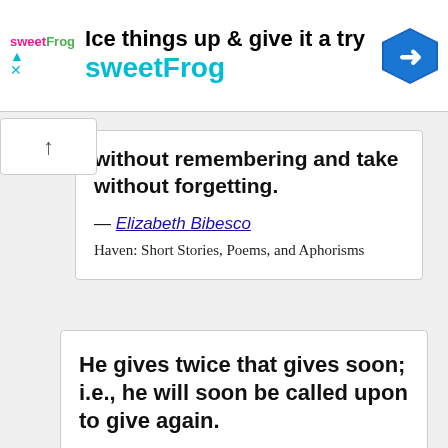[Figure (other): SweetFrog advertisement banner with logo, tagline 'Ice things up & give it a try sweetFrog', and navigation arrow icon]
without remembering and take without forgetting.
— Elizabeth Bibesco
Haven: Short Stories, Poems, and Aphorisms
He gives twice that gives soon; i.e., he will soon be called upon to give again.
— Benjamin Franklin
Poor Richard's Almanack
I have found that among its other benefits, giving liberates